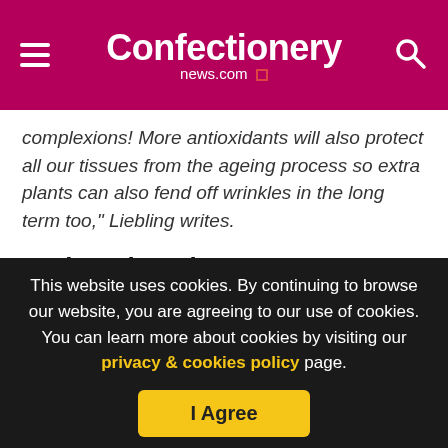Confectionery news.com
complexions! More antioxidants will also protect all our tissues from the ageing process so extra plants can also fend off wrinkles in the long term too," Liebling writes.
Ombar chocolate
Ombar Chocolate is 100% vegan and therefore taps right into cocoa's purest essence, with none of the bad ingredients added.
This website uses cookies. By continuing to browse our website, you are agreeing to our use of cookies. You can learn more about cookies by visiting our privacy & cookies policy page.
I Agree